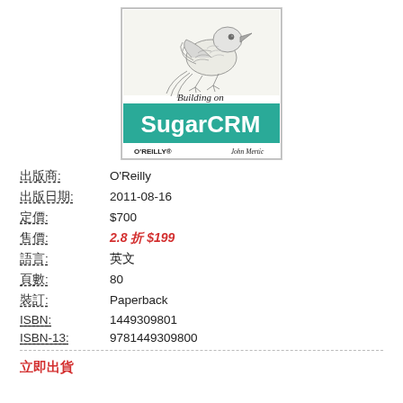[Figure (illustration): Book cover of 'Building on SugarCRM' by John Mertic, published by O'Reilly. Features an animal illustration (bird/raven) on the cover with teal/green background banner showing 'SugarCRM' in large white text and 'Building on' in italic above it. O'REILLY logo at bottom left, author name John Mertic at bottom right.]
| 出版商: | O'Reilly |
| 出版日期: | 2011-08-16 |
| 定價: | $700 |
| 售價: | 2.8 折 $199 |
| 語言: | 英文 |
| 頁數: | 80 |
| 裝訂: | Paperback |
| ISBN: | 1449309801 |
| ISBN-13: | 9781449309800 |
立即出貨